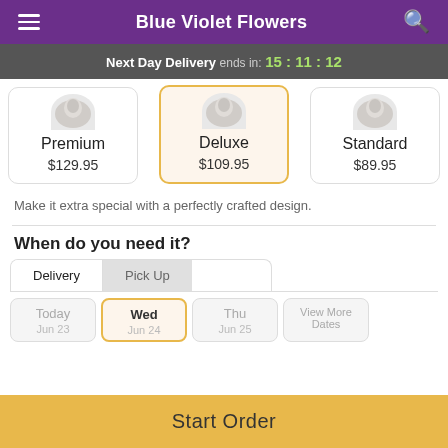Blue Violet Flowers
Next Day Delivery ends in: 15:11:12
[Figure (screenshot): Three product option cards showing flower arrangement tiers: Premium $129.95, Deluxe $109.95 (selected/highlighted), Standard $89.95]
Make it extra special with a perfectly crafted design.
When do you need it?
Delivery | Pick Up tabs
Day picker: Today, Wed, Thu, View More Dates
Start Order